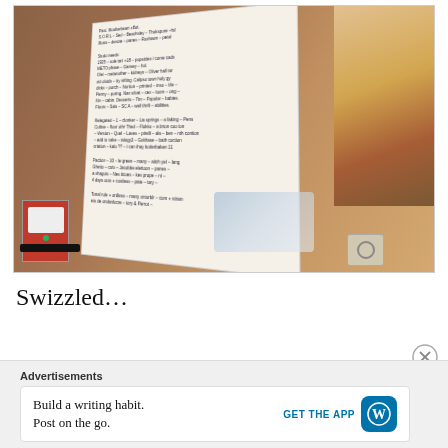[Figure (photo): A photograph of an open handwritten notebook/planner propped up on a wooden table, with food recipe images visible on the right side of the notebook, a red box on the left, a black marker at bottom left, and a metal clip at bottom right.]
Swizzled…
Advertisements
Build a writing habit. Post on the go.
GET THE APP